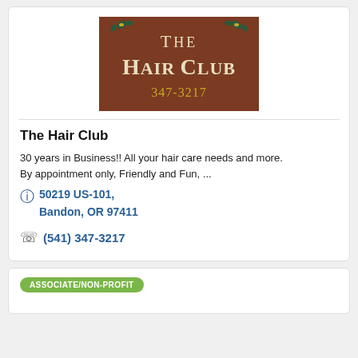[Figure (logo): The Hair Club sign with brown/rust background, cream colored serif lettering reading 'The Hair Club' with decorative floral elements and phone number 347-3217]
The Hair Club
30 years in Business!! All your hair care needs and more.
By appointment only, Friendly and Fun, ...
50219 US-101, Bandon, OR 97411
(541) 347-3217
ASSOCIATE/NON-PROFIT